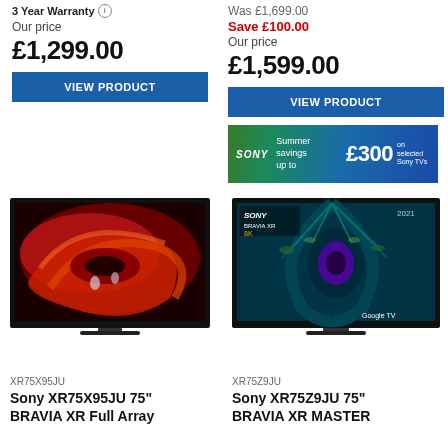3 Year Warranty
Our price
£1,299.00
VIEW PRODUCT
Was £1,699.00
Save £100.00
Our price
£1,599.00
VIEW PRODUCT
[Figure (infographic): Sony summer savings up to £300 on selected Sony TVs banner]
[Figure (photo): Sony XR75X95JU 75 inch BRAVIA XR Full Array LED TV displaying red abstract art]
[Figure (photo): Sony XR75Z9JU 75 inch BRAVIA XR MASTER Series 8K TV displaying peacock feather]
XR75X95JU
Sony XR75X95JU 75" BRAVIA XR Full Array
XR75Z9JU
Sony XR75Z9JU 75" BRAVIA XR MASTER